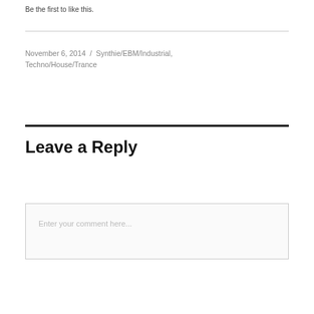Be the first to like this.
November 6, 2014  /  Synthie/EBM/Industrial, Techno/House/Trance
Leave a Reply
Enter your comment here...